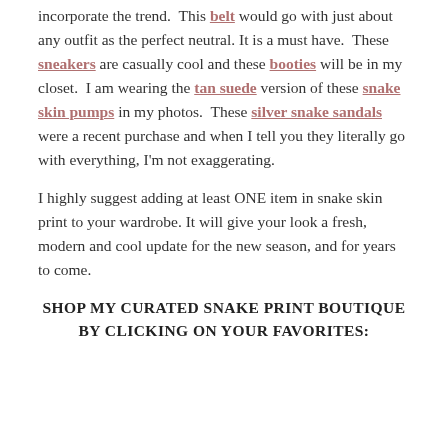incorporate the trend. This belt would go with just about any outfit as the perfect neutral. It is a must have. These sneakers are casually cool and these booties will be in my closet. I am wearing the tan suede version of these snake skin pumps in my photos. These silver snake sandals were a recent purchase and when I tell you they literally go with everything, I'm not exaggerating.
I highly suggest adding at least ONE item in snake skin print to your wardrobe. It will give your look a fresh, modern and cool update for the new season, and for years to come.
SHOP MY CURATED SNAKE PRINT BOUTIQUE BY CLICKING ON YOUR FAVORITES: